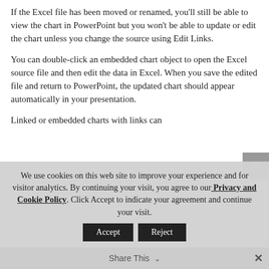If the Excel file has been moved or renamed, you'll still be able to view the chart in PowerPoint but you won't be able to update or edit the chart unless you change the source using Edit Links.
You can double-click an embedded chart object to open the Excel source file and then edit the data in Excel. When you save the edited file and return to PowerPoint, the updated chart should appear automatically in your presentation.
Linked or embedded charts with links can
We use cookies on this web site to improve your experience and for visitor analytics. By continuing your visit, you agree to our Privacy and Cookie Policy. Click Accept to indicate your agreement and continue your visit.
Share This